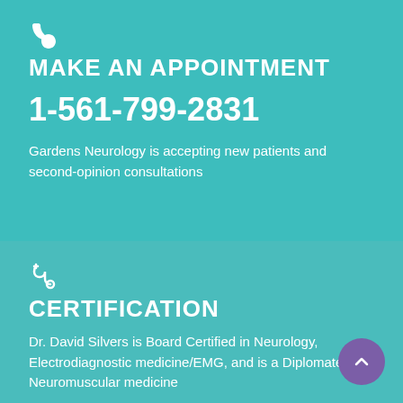[Figure (illustration): White phone/telephone icon]
MAKE AN APPOINTMENT
1-561-799-2831
Gardens Neurology is accepting new patients and second-opinion consultations
[Figure (illustration): White stethoscope icon]
CERTIFICATION
Dr. David Silvers is Board Certified in Neurology, Electrodiagnostic medicine/EMG, and is a Diplomate in Neuromuscular medicine
[Figure (illustration): Purple circular scroll-to-top button with upward chevron arrow]